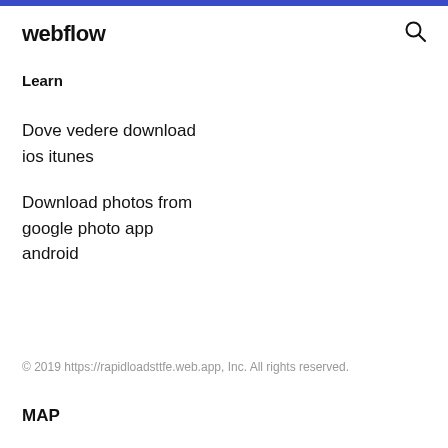webflow
Learn
Dove vedere download ios itunes
Download photos from google photo app android
© 2019 https://rapidloadsttfe.web.app, Inc. All rights reserved.
MAP